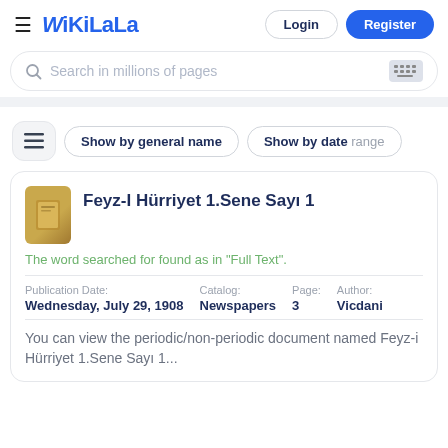WikiLala — Login | Register
Search in millions of pages
Show by general name | Show by date range
Feyz-I Hürriyet 1.Sene Sayı 1
The word searched for found as in "Full Text".
| Publication Date: | Catalog: | Page: | Author: |
| --- | --- | --- | --- |
| Wednesday, July 29, 1908 | Newspapers | 3 | Vicdani |
You can view the periodic/non-periodic document named Feyz-i Hürriyet 1.Sene Sayı 1...